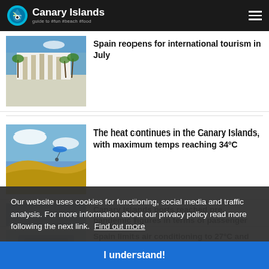Canary Islands – guide to #fun #beach #food
[Figure (photo): Hotel building with palm trees, blue sky]
Spain reopens for international tourism in July
[Figure (photo): Sand dunes with paraglider and blue sky]
The heat continues in the Canary Islands, with maximum temps reaching 34ºC
Canary Islands ports reached pre pandemic figures in terms of passenger
[Figure (photo): Air conditioning unit close-up]
Spain limits air conditioning to 27ºC and heating to 19ºC as part of an energy saving plan
Our website uses cookies for functioning, social media and traffic analysis. For more information about our privacy policy read more following the next link. Find out more
I understand!